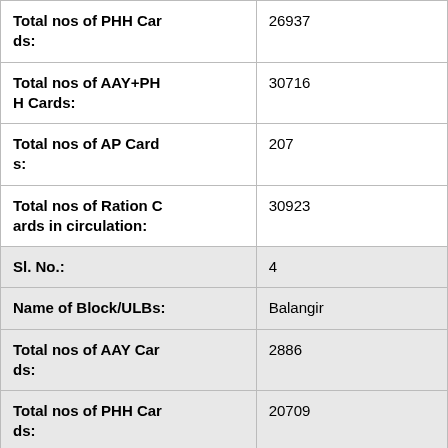| Field | Value |
| --- | --- |
| Total nos of PHH Cards: | 26937 |
| Total nos of AAY+PHH Cards: | 30716 |
| Total nos of AP Cards: | 207 |
| Total nos of Ration Cards in circulation: | 30923 |
| Sl. No.: | 4 |
| Name of Block/ULBs: | Balangir |
| Total nos of AAY Cards: | 2886 |
| Total nos of PHH Cards: | 20709 |
| Total nos of AAY+PHH Cards: | 23595 |